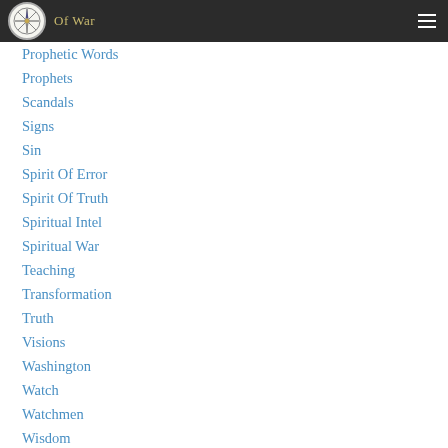Of War / Prophetic Words
Prophetic Words
Prophets
Scandals
Signs
Sin
Spirit Of Error
Spirit Of Truth
Spiritual Intel
Spiritual War
Teaching
Transformation
Truth
Visions
Washington
Watch
Watchmen
Wisdom